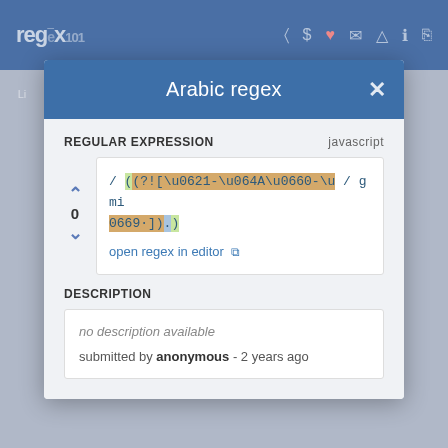regex101 [navigation bar with icons]
Arabic regex
REGULAR EXPRESSION
javascript
/ ((?![\u0621-\u064A\u0660-\u0669·]).)+/ gmi
open regex in editor
DESCRIPTION
no description available
submitted by anonymous - 2 years ago